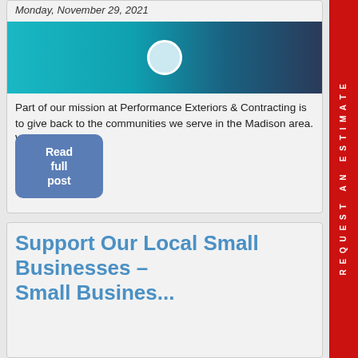Monday, November 29, 2021
[Figure (photo): Header image with teal/blue background and circular profile element]
Part of our mission at Performance Exteriors & Contracting is to give back to the communities we serve in the Madison area. Whether it...
Read full post
Support Our Local Small Businesses – Small Busines...